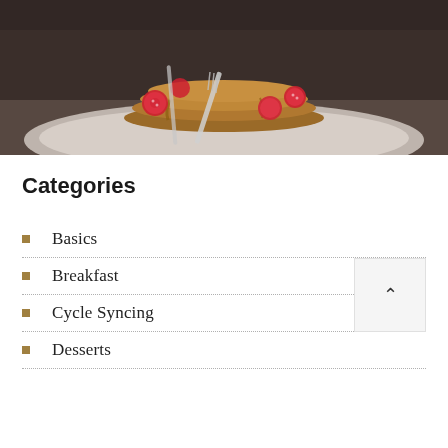[Figure (photo): Photo of a stack of pancakes topped with raspberries and syrup on a plate with a fork, dark moody background]
Categories
Basics
Breakfast
Cycle Syncing
Desserts